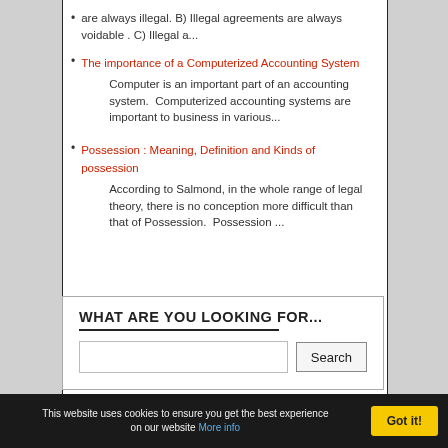are always illegal. B) Illegal agreements are always voidable . C) Illegal a...
The importance of a Computerized Accounting System
Computer is an important part of an accounting system.  Computerized accounting systems are important to business in various...
Possession : Meaning, Definition and Kinds of possession
According to Salmond, in the whole range of legal theory, there is no conception more difficult than that of Possession.  Possession ...
WHAT ARE YOU LOOKING FOR...
This website uses cookies to ensure you get the best experience on our website More info